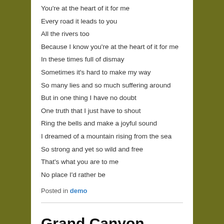You're at the heart of it for me
Every road it leads to you
All the rivers too
Because I know you're at the heart of it for me
In these times full of dismay
Sometimes it's hard to make my way
So many lies and so much suffering around
But in one thing I have no doubt
One truth that I just have to shout
Ring the bells and make a joyful sound
I dreamed of a mountain rising from the sea
So strong and yet so wild and free
That's what you are to me
No place I'd rather be
Posted in demo
Grand Canyon
Posted on February 12, 2017